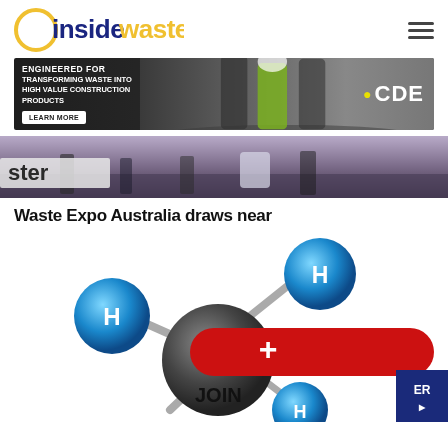[Figure (logo): Inside Waste magazine logo with yellow circle border, dark blue 'inside' text and yellow 'waste' text]
[Figure (infographic): CDE advertisement banner: 'ENGINEERED FOR TRANSFORMING WASTE INTO HIGH VALUE CONSTRUCTION PRODUCTS' with LEARN MORE button and workers photo, CDE logo]
[Figure (photo): Partial photo showing people standing at what appears to be a trade show or expo, with partial text 'ster']
Waste Expo Australia draws near
[Figure (illustration): 3D molecular model showing carbon atom (C) connected to hydrogen atoms (H) in blue spheres, with a red rounded rectangle overlay containing a plus sign, and JOIN text and ER badge visible at bottom]